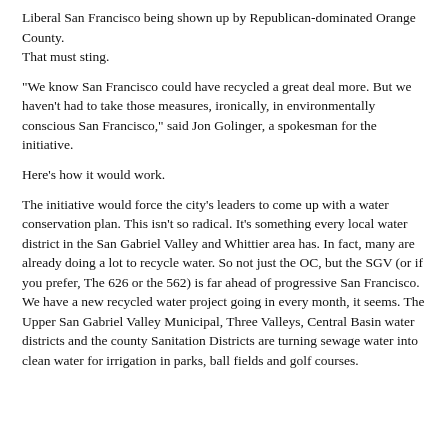Liberal San Francisco being shown up by Republican-dominated Orange County.
That must sting.
"We know San Francisco could have recycled a great deal more. But we haven't had to take those measures, ironically, in environmentally conscious San Francisco," said Jon Golinger, a spokesman for the initiative.
Here's how it would work.
The initiative would force the city's leaders to come up with a water conservation plan. This isn't so radical. It's something every local water district in the San Gabriel Valley and Whittier area has. In fact, many are already doing a lot to recycle water. So not just the OC, but the SGV (or if you prefer, The 626 or the 562) is far ahead of progressive San Francisco. We have a new recycled water project going in every month, it seems. The Upper San Gabriel Valley Municipal, Three Valleys, Central Basin water districts and the county Sanitation Districts are turning sewage water into clean water for irrigation in parks, ball fields and golf courses.